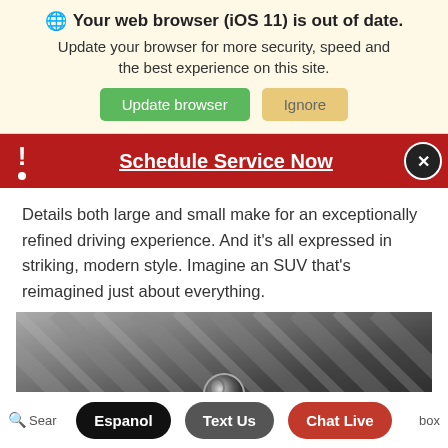🌐 Your web browser (iOS 11) is out of date. Update your browser for more security, speed and the best experience on this site.
Update browser | Ignore
Schedule Service Now
Details both large and small make for an exceptionally refined driving experience. And it's all expressed in striking, modern style. Imagine an SUV that's reimagined just about everything.
[Figure (photo): Close-up black and white photo of a car grille with diagonal ridges and a chrome knob/emblem in the center]
Espanol | Text Us | Chat Live